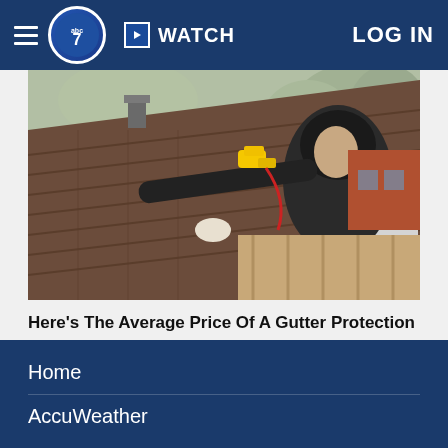ABC7 | WATCH | LOG IN
[Figure (photo): A worker in a black hoodie installs or inspects gutters on a residential roof with brown shingles, holding a yellow power drill, with trees and a brick house visible in the background]
Here's The Average Price Of A Gutter Protection
LeafFilter Partner
Search Now
Home
AccuWeather